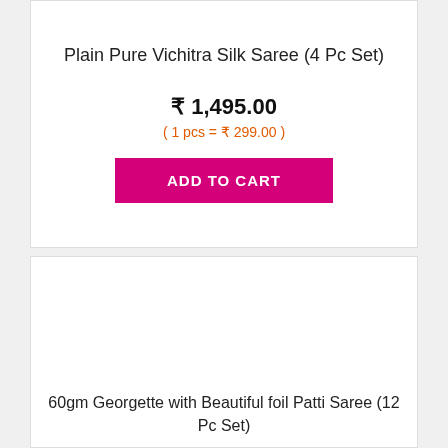Plain Pure Vichitra Silk Saree (4 Pc Set)
₹ 1,495.00
( 1 pcs = ₹ 299.00 )
ADD TO CART
60gm Georgette with Beautiful foil Patti Saree (12 Pc Set)